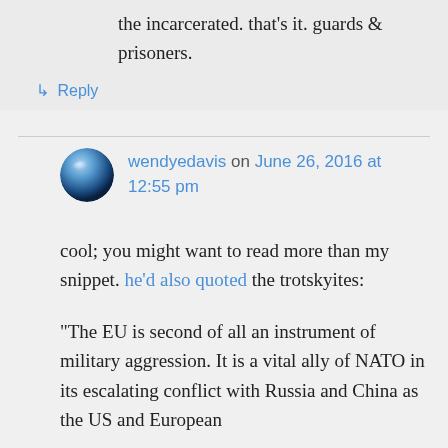the incarcerated. that's it. guards & prisoners.
↳ Reply
wendyedavis on June 26, 2016 at 12:55 pm
cool; you might want to read more than my snippet. he'd also quoted the trotskyites:
“The EU is second of all an instrument of military aggression. It is a vital ally of NATO in its escalating conflict with Russia and China as the US and European